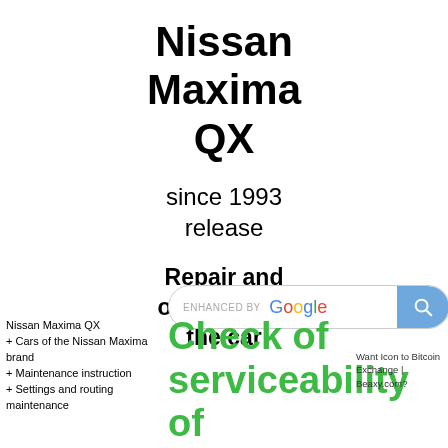Nissan Maxima QX
since 1993 release
Repair and operation of the car
[Figure (screenshot): Google Enhanced search bar with blue search button and magnifying glass icon]
Nissan Maxima QX
+ Cars of the Nissan Maxima brand
+ Maintenance instruction
+ Settings and routing maintenance
Check of serviceability of
Want Icon to Bitcoin Exchange | Beaxy.com?